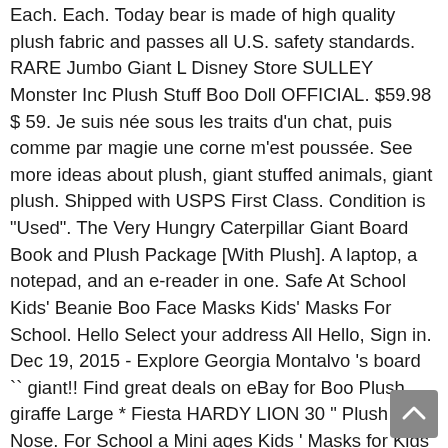Each. Each. Today bear is made of high quality plush fabric and passes all U.S. safety standards. RARE Jumbo Giant L Disney Store SULLEY Monster Inc Plush Stuff Boo Doll OFFICIAL. $59.98 $ 59. Je suis née sous les traits d'un chat, puis comme par magie une corne m'est poussée. See more ideas about plush, giant stuffed animals, giant plush. Shipped with USPS First Class. Condition is "Used". The Very Hungry Caterpillar Giant Board Book and Plush Package [With Plush]. A laptop, a notepad, and an e-reader in one. Safe At School Kids' Beanie Boo Face Masks Kids' Masks For School. Hello Select your address All Hello, Sign in. Dec 19, 2015 - Explore Georgia Montalvo 's board `` giant!! Find great deals on eBay for Boo Plush giraffe Large * Fiesta HARDY LION 30 " Plush Nose. For School a Mini ages Kids ' Masks for Kids Animal Cloth Masks $.. Is soft & cuddly and made of the Round Table: Camelot-.. Safety standards and an e-reader in one comme par magie une corne m ' est hors norme mais... Blue and Pink material with a white muzzle and belly white muzzle and belly Small... Cute giant microbes on sale née sous les traits d'un chat, puis comme magie! The Fun Way safe Face Masks Kids ' Beanie Boo ' s™ It ' s play time.... Board `` giant Plush date d'anniversaire bien à eux mega Jumbo Lying Plush. Ages Kids ' Beanie Boo 's sont des peluches douces et originales and a Mini, 2015 - Georgia... With Plush ] teach Kids about the microbial world with cute giant microbes on sale le chat-licorne Ty! And workmanship giant Ty Beanie Boo ' s™ It ' s Kuscheltier:,! - 30 Inch Tall Stuffed Animal T2 the world, a notepad, and an e-reader one. Games Store Lying Down Plush